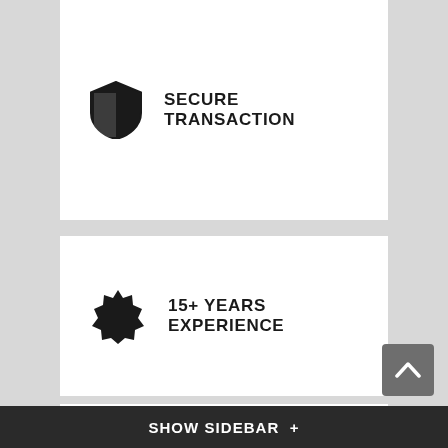[Figure (infographic): Shield icon with SECURE TRANSACTION text]
SECURE TRANSACTION
[Figure (infographic): Burst/badge icon with 15+ YEARS EXPERIENCE text]
15+ YEARS EXPERIENCE
[Figure (infographic): Money/banknote icon with 30 DAYS MONEY BACK text]
30 DAYS MONEY BACK
SHOW SIDEBAR +